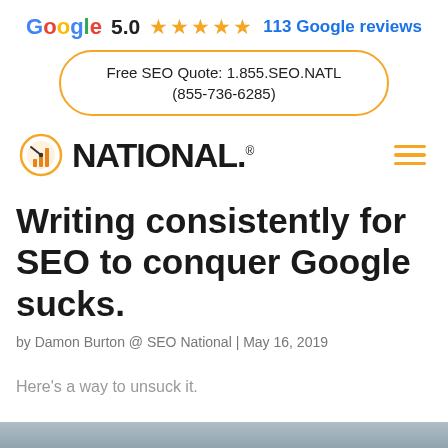[Figure (logo): Google G logo with rating: 5.0, five gold stars, 113 Google reviews in blue]
Free SEO Quote: 1.855.SEO.NATL (855-736-6285)
[Figure (logo): SEO National logo with orange chart icon and hamburger menu icon]
Writing consistently for SEO to conquer Google sucks.
by Damon Burton @ SEO National | May 16, 2019
Here's a way to unsuck it.